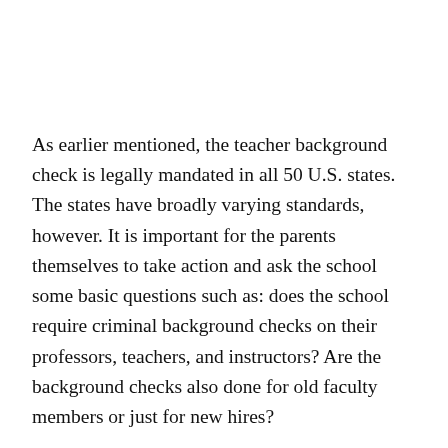As earlier mentioned, the teacher background check is legally mandated in all 50 U.S. states. The states have broadly varying standards, however. It is important for the parents themselves to take action and ask the school some basic questions such as: does the school require criminal background checks on their professors, teachers, and instructors? Are the background checks also done for old faculty members or just for new hires?